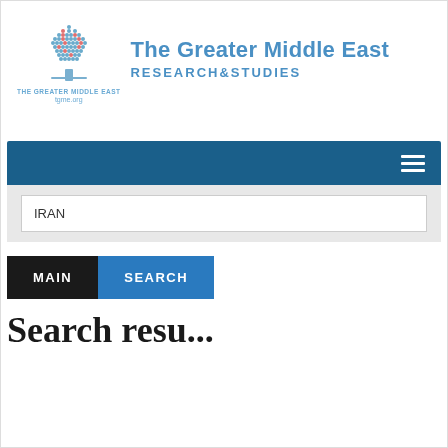[Figure (logo): The Greater Middle East tree logo with text 'THE GREATER MIDDLE EAST' and 'tgme.org']
The Greater Middle East RESEARCH&STUDIES
[Figure (screenshot): Dark blue navigation bar with hamburger menu icon on the right]
[Figure (screenshot): Search field with text 'IRAN' on grey background]
MAIN
SEARCH
Search results...